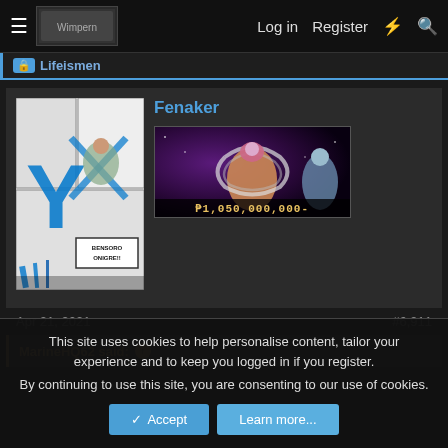Log in   Register
Lifeismen
Fenaker
[Figure (illustration): Manga panel showing characters fighting with blue Y-shaped energy slash and text bubble saying BENSORO ONIGRE!!]
[Figure (illustration): User avatar banner showing anime characters with bounty text §1,050,000,000-]
Apr 21, 2021
#6,911
MarineHQ62 said:
This site uses cookies to help personalise content, tailor your experience and to keep you logged in if you register.
By continuing to use this site, you are consenting to our use of cookies.
Accept   Learn more...